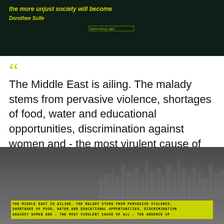[Figure (photo): Dark rainy background image with yellow-green italic text quote fragment and author name Dorothee Solle, with a website watermark]
“The Middle East is ailing. The malady stems from pervasive violence, shortages of food, water and educational opportunities, discrimination against women and - the most virulent cause of all - the absence of freedom.” — Shimon Peres
[Figure (photo): Dark grey cityscape/skyline background image with yellow-highlighted uppercase text repeating the Shimon Peres quote about the Middle East]